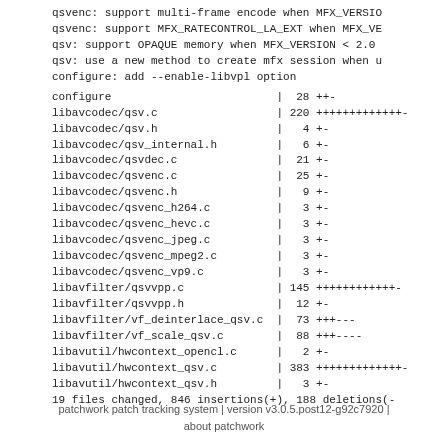qsvenc: support multi-frame encode when MFX_VERSION
qsvenc: support MFX_RATECONTROL_LA_EXT when MFX_VE
qsv: support OPAQUE memory when MFX_VERSION < 2.0
qsv: use a new method to create mfx session when u
configure: add --enable-libvpl option
| file | lines | changes |
| --- | --- | --- |
| configure | 28 | ++- |
| libavcodec/qsv.c | 220 | +++++++++++++- |
| libavcodec/qsv.h | 4 | +- |
| libavcodec/qsv_internal.h | 6 | +- |
| libavcodec/qsvdec.c | 21 | +- |
| libavcodec/qsvenc.c | 25 | +- |
| libavcodec/qsvenc.h | 9 | +- |
| libavcodec/qsvenc_h264.c | 3 | +- |
| libavcodec/qsvenc_hevc.c | 3 | +- |
| libavcodec/qsvenc_jpeg.c | 3 | +- |
| libavcodec/qsvenc_mpeg2.c | 3 | +- |
| libavcodec/qsvenc_vp9.c | 3 | +- |
| libavfilter/qsvvpp.c | 145 | ++++++++++++- |
| libavfilter/qsvvpp.h | 12 | +- |
| libavfilter/vf_deinterlace_qsv.c | 73 | +++--- |
| libavfilter/vf_scale_qsv.c | 88 | +++---- |
| libavutil/hwcontext_opencl.c | 2 | +- |
| libavutil/hwcontext_qsv.c | 383 | ++++++++++++++- |
| libavutil/hwcontext_qsv.h | 3 | +- |
19 files changed, 846 insertions(+), 188 deletions(-
patchwork patch tracking system | version v3.0.5.post12-g92c7920 | about patchwork